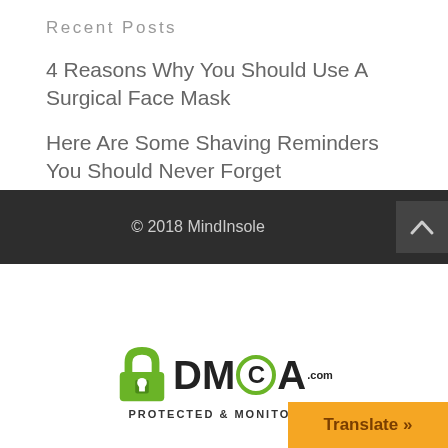Recent Posts
4 Reasons Why You Should Use A Surgical Face Mask
Here Are Some Shaving Reminders You Should Never Forget
Search
© 2018 MindInsole
[Figure (logo): DMCA Protected & Monitored badge with green padlock icon]
Translate »